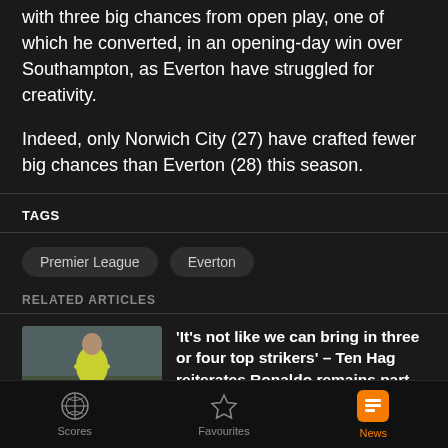This season, however, Dominic Calvert-Lewin has only been provided with three big chances from open play, one of which he converted, in an opening-day win over Southampton, as Everton have struggled for creativity.
Indeed, only Norwich City (27) have crafted fewer big chances than Everton (28) this season.
TAGS
Premier League
Everton
RELATED ARTICLES
'It's not like we can bring in three or four top strikers' – Ten Hag reiterates Ronaldo remains part of Man Utd plans
Scores   Favourites   News